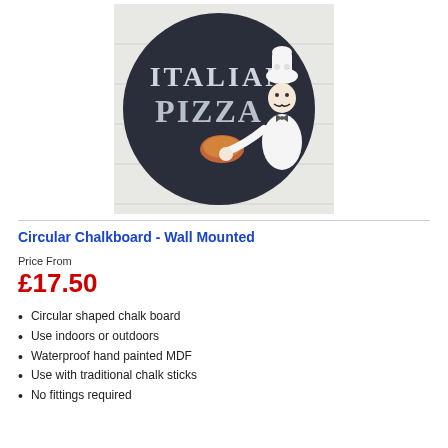[Figure (photo): Circular dark chalkboard sign with 'ITALIAN PIZZA' text and a cartoon chef illustration holding a pizza, mounted on a white wooden background.]
Circular Chalkboard - Wall Mounted
Price From
£17.50
Circular shaped chalk board
Use indoors or outdoors
Waterproof hand painted MDF
Use with traditional chalk sticks
No fittings required